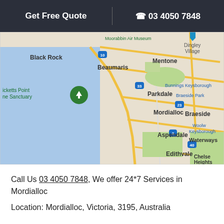Get Free Quote  |  03 4050 7848
[Figure (map): Google Map showing coastal suburbs of Melbourne including Black Rock, Beaumaris, Mentone, Parkdale, Mordialloc, Braeside, Aspendale, Waterways, Edithvale, Chelsea Heights, Dingley Village, Keysborough. Shows Port Phillip Bay on the left side.]
Call Us 03 4050 7848, We offer 24*7 Services in Mordialloc
Location: Mordialloc, Victoria, 3195, Australia